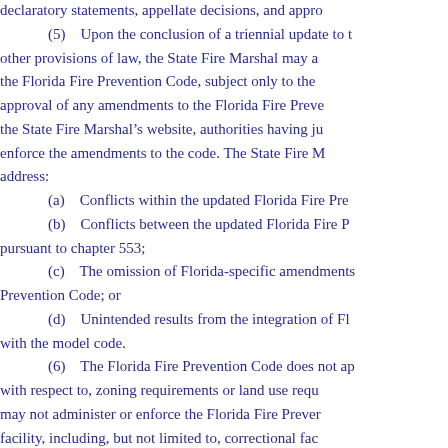declaratory statements, appellate decisions, and appro
(5) Upon the conclusion of a triennial update to the other provisions of law, the State Fire Marshal may a the Florida Fire Prevention Code, subject only to the approval of any amendments to the Florida Fire Prev the State Fire Marshal’s website, authorities having ju enforce the amendments to the code. The State Fire M address:
(a) Conflicts within the updated Florida Fire Pre
(b) Conflicts between the updated Florida Fire P pursuant to chapter 553;
(c) The omission of Florida-specific amendments Prevention Code; or
(d) Unintended results from the integration of Fl with the model code.
(6) The Florida Fire Prevention Code does not ap with respect to, zoning requirements or land use requ may not administer or enforce the Florida Fire Prever facility, including, but not limited to, correctional fac community colleges, or public education facilities. Th government from imposing built-in fire protection sys properly protect the intended facility.